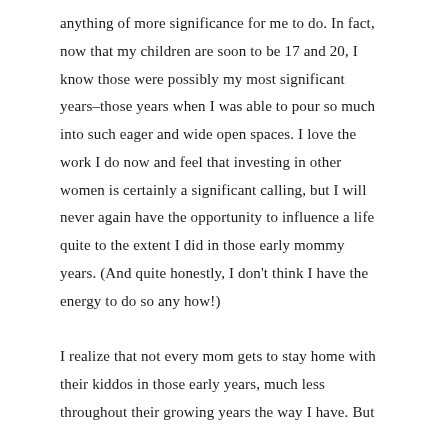anything of more significance for me to do. In fact, now that my children are soon to be 17 and 20, I know those were possibly my most significant years–those years when I was able to pour so much into such eager and wide open spaces. I love the work I do now and feel that investing in other women is certainly a significant calling, but I will never again have the opportunity to influence a life quite to the extent I did in those early mommy years. (And quite honestly, I don't think I have the energy to do so any how!)

I realize that not every mom gets to stay home with their kiddos in those early years, much less throughout their growing years the way I have. But